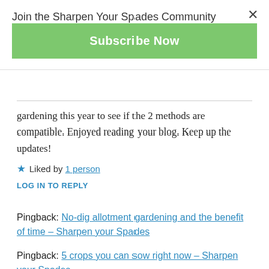Join the Sharpen Your Spades Community
Subscribe Now
gardening this year to see if the 2 methods are compatible. Enjoyed reading your blog. Keep up the updates!
★ Liked by 1 person
LOG IN TO REPLY
Pingback: No-dig allotment gardening and the benefit of time – Sharpen your Spades
Pingback: 5 crops you can sow right now – Sharpen your Spades
Pingback: 4 Benefits of Raised Beds on Allotment Gardens – Sharpen your Spades